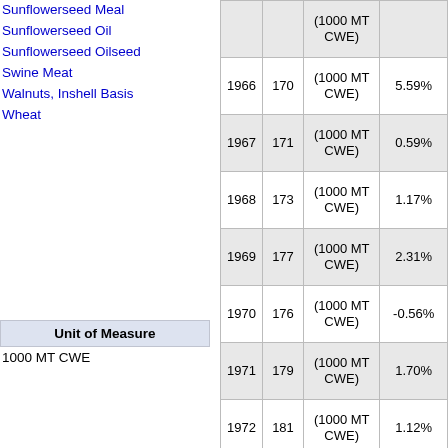Sunflowerseed Meal
Sunflowerseed Oil
Sunflowerseed Oilseed
Swine Meat
Walnuts, Inshell Basis
Wheat
| Unit of Measure |
| --- |
| 1000 MT CWE |
|  |  | (1000 MT CWE) |  |
| --- | --- | --- | --- |
| 1966 | 170 | (1000 MT CWE) | 5.59% |
| 1967 | 171 | (1000 MT CWE) | 0.59% |
| 1968 | 173 | (1000 MT CWE) | 1.17% |
| 1969 | 177 | (1000 MT CWE) | 2.31% |
| 1970 | 176 | (1000 MT CWE) | -0.56% |
| 1971 | 179 | (1000 MT CWE) | 1.70% |
| 1972 | 181 | (1000 MT CWE) | 1.12% |
| 1973 | 183 | (1000 MT CWE) | 1.10% |